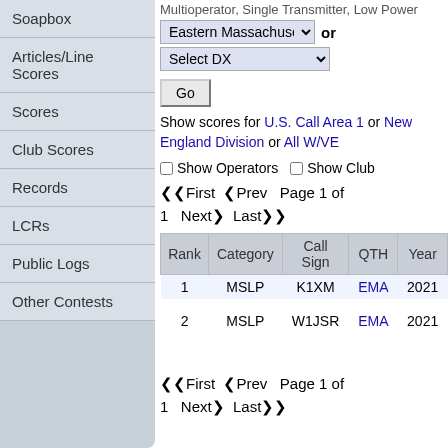Soapbox
Articles/Line Scores
Scores
Club Scores
Records
LCRs
Public Logs
Other Contests
Multioperator, Single Transmitter, Low Power
Eastern Massachusetts  or  Select DX
Go
Show scores for U.S. Call Area 1 or New England Division or All W/VE
Show Operators  Show Club
<<First <Prev  Page 1 of 1  Next> Last>>
| Rank | Category | Call Sign | QTH | Year |
| --- | --- | --- | --- | --- |
| 1 | MSLP | K1XM | EMA | 2021 |
| 2 | MSLP | W1JSR | EMA | 2021 |
<<First <Prev  Page 1 of 1  Next> Last>>